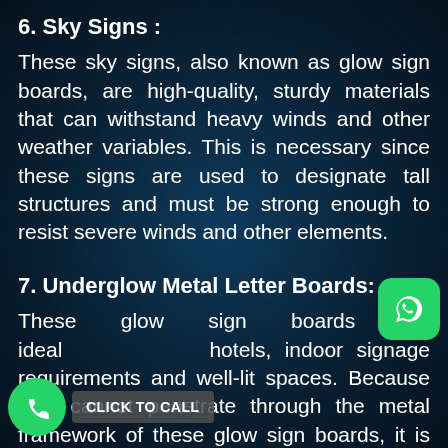6. Sky Signs :
These sky signs, also known as glow sign boards, are high-quality, sturdy materials that can withstand heavy winds and other weather variables. This is necessary since these signs are used to designate tall structures and must be strong enough to resist severe winds and other elements.
7. Underglow Metal Letter Boards:
These glow sign boards are ideal hotels, indoor signage requirements and well-lit spaces. Because light cannot penetrate through the metal framework of these glow sign boards, it is put in the back to give it a new aspect.
[Figure (logo): WhatsApp button (green rounded square with phone icon)]
[Figure (logo): Call button: green circle with phone icon and 'CLICK TO CALL' label]